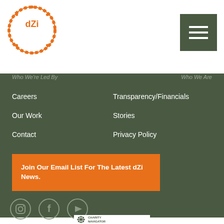[Figure (logo): dZi Foundation logo: circular orange badge with 'dZi' text in center]
[Figure (other): Hamburger menu button (three horizontal white lines on dark green/olive square background)]
Careers
Transparency/Financials
Our Work
Stories
Contact
Privacy Policy
Join Our Email List For The Latest dZi News.
[Figure (other): Instagram icon (camera outline) white circle]
[Figure (other): Facebook icon (f letter) white circle]
[Figure (other): YouTube icon (play button) white circle]
[Figure (logo): Charity Navigator logo: star/compass graphic with 'CHARITY NAVIGATOR' text]